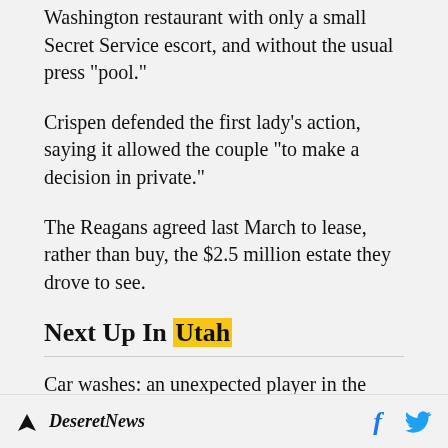Washington restaurant with only a small Secret Service escort, and without the usual press "pool."
Crispen defended the first lady's action, saying it allowed the couple "to make a decision in private."
The Reagans agreed last March to lease, rather than buy, the $2.5 million estate they drove to see.
Next Up In Utah
Car washes: an unexpected player in the water conservation fight
Deseret News  f  (twitter)